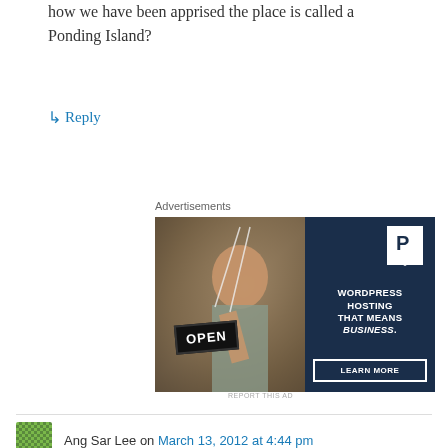how we have been apprised the place is called a Ponding Island?
↳ Reply
Advertisements
[Figure (photo): Advertisement banner showing a woman holding an OPEN sign on the left (photo), and on the right a dark navy panel with a Pressable P logo, text 'WORDPRESS HOSTING THAT MEANS BUSINESS.' and a 'LEARN MORE' button.]
REPORT THIS AD
Ang Sar Lee on March 13, 2012 at 4:44 pm